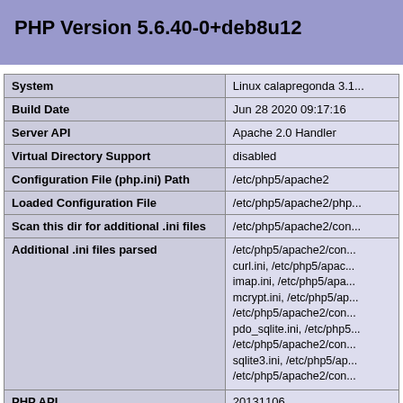PHP Version 5.6.40-0+deb8u12
|  |  |
| --- | --- |
| System | Linux calapregonda 3.1... |
| Build Date | Jun 28 2020 09:17:16 |
| Server API | Apache 2.0 Handler |
| Virtual Directory Support | disabled |
| Configuration File (php.ini) Path | /etc/php5/apache2 |
| Loaded Configuration File | /etc/php5/apache2/php... |
| Scan this dir for additional .ini files | /etc/php5/apache2/con... |
| Additional .ini files parsed | /etc/php5/apache2/con... curl.ini, /etc/php5/apac... imap.ini, /etc/php5/apa... mcrypt.ini, /etc/php5/ap... /etc/php5/apache2/con... pdo_sqlite.ini, /etc/php5... /etc/php5/apache2/con... sqlite3.ini, /etc/php5/ap... /etc/php5/apache2/con... |
| PHP API | 20131106 |
| PHP Extension | 20131226 |